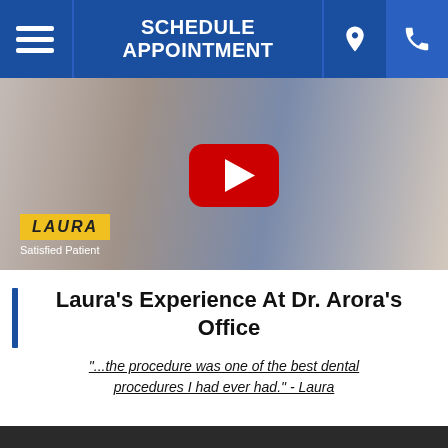SCHEDULE APPOINTMENT
[Figure (screenshot): Video thumbnail showing a smiling woman (Laura, Satisfied Patient) with a YouTube play button overlay. Yellow name bar reads 'LAURA / Satisfied Patient'.]
Laura's Experience At Dr. Arora's Office
"...the procedure was one of the best dental procedures I had ever had." - Laura